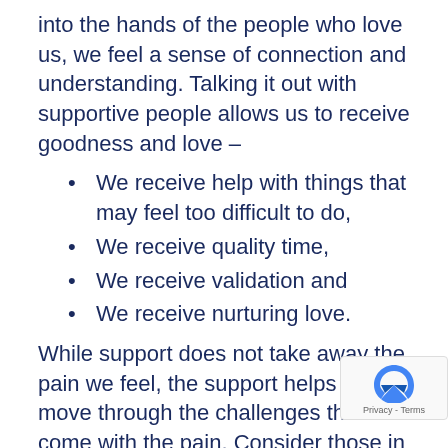into the hands of the people who love us, we feel a sense of connection and understanding. Talking it out with supportive people allows us to receive goodness and love –
We receive help with things that may feel too difficult to do,
We receive quality time,
We receive validation and
We receive nurturing love.
While support does not take away the pain we feel, the support helps us move through the challenges that come with the pain. Consider those in your life who are behind you 100%, those who bring a